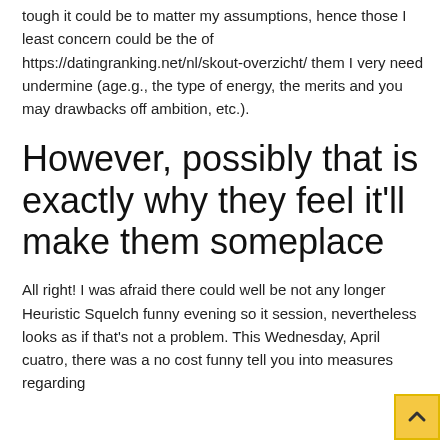tough it could be to matter my assumptions, hence those I least concern could be the of https://datingranking.net/nl/skout-overzicht/ them I very need undermine (age.g., the type of energy, the merits and you may drawbacks off ambition, etc.).
However, possibly that is exactly why they feel it'll make them someplace
All right! I was afraid there could well be not any longer Heuristic Squelch funny evening so it session, nevertheless looks as if that's not a problem. This Wednesday, April cuatro, there was a no cost funny tell you into measures regarding Sproul Hall, it is UC Berkeley. The no of factor who point to